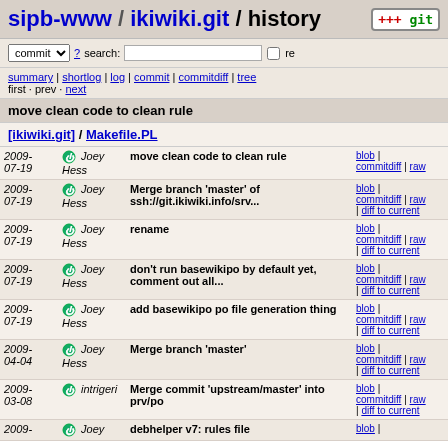sipb-www / ikiwiki.git / history
commit ? search: re
summary | shortlog | log | commit | commitdiff | tree
first · prev · next
move clean code to clean rule
[ikiwiki.git] / Makefile.PL
| Date | Author | Commit Message | Links |
| --- | --- | --- | --- |
| 2009-07-19 | Joey Hess | move clean code to clean rule | blob | commitdiff | raw |
| 2009-07-19 | Joey Hess | Merge branch 'master' of ssh://git.ikiwiki.info/srv... | blob | commitdiff | raw | diff to current |
| 2009-07-19 | Joey Hess | rename | blob | commitdiff | raw | diff to current |
| 2009-07-19 | Joey Hess | don't run basewikipo by default yet, comment out all... | blob | commitdiff | raw | diff to current |
| 2009-07-19 | Joey Hess | add basewikipo po file generation thing | blob | commitdiff | raw | diff to current |
| 2009-04-04 | Joey Hess | Merge branch 'master' | blob | commitdiff | raw | diff to current |
| 2009-03-08 | intrigeri | Merge commit 'upstream/master' into prv/po | blob | commitdiff | raw | diff to current |
| 2009- | Joey | debhelper v7: rules file | blob | |